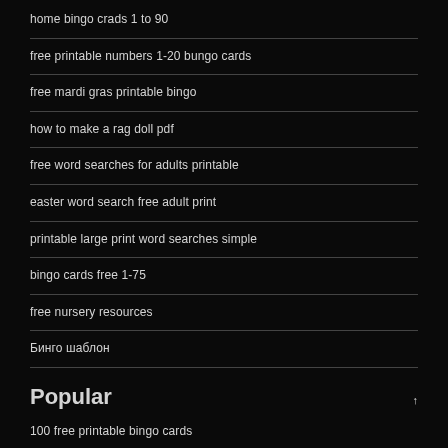home bingo crads 1 to 90
free printable numbers 1-20 bungo cards
free mardi gras printable bingo
how to make a rag doll pdf
free word searches for adults printable
easter word search free adult print
printable large print word searches simple
bingo cards free 1-75
free nursery resources
Бинго шаблон
Popular
100 free printable bingo cards